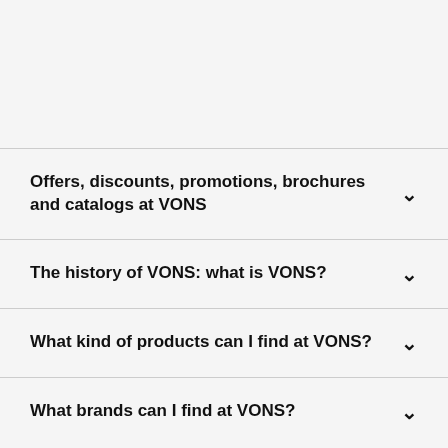Offers, discounts, promotions, brochures and catalogs at VONS
The history of VONS: what is VONS?
What kind of products can I find at VONS?
What brands can I find at VONS?